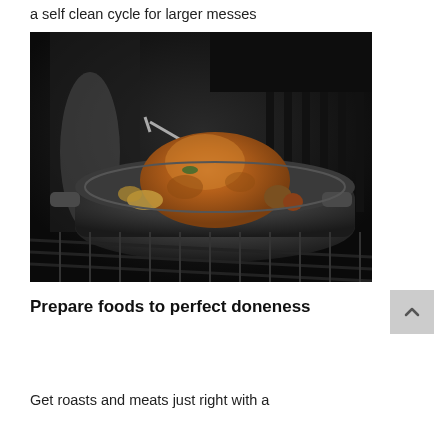a self clean cycle for larger messes
[Figure (photo): A roasted chicken in a dark roasting pan inside an oven, viewed through the open oven door. The chicken is golden brown with vegetables around it. The oven rack and interior grates are visible.]
Prepare foods to perfect doneness
Get roasts and meats just right with a